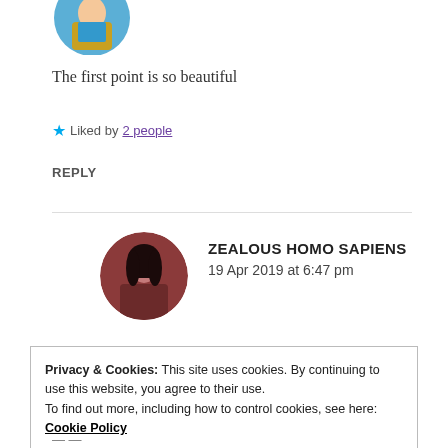[Figure (photo): Partial circular avatar image at top, cropped, showing a person in blue/gold clothing]
The first point is so beautiful
★ Liked by 2 people
REPLY
[Figure (photo): Circular avatar of a person with dark hair, brownish-red toned image, for user Zealous Homo Sapiens]
ZEALOUS HOMO SAPIENS
19 Apr 2019 at 6:47 pm
Privacy & Cookies: This site uses cookies. By continuing to use this website, you agree to their use.
To find out more, including how to control cookies, see here: Cookie Policy
Close and accept